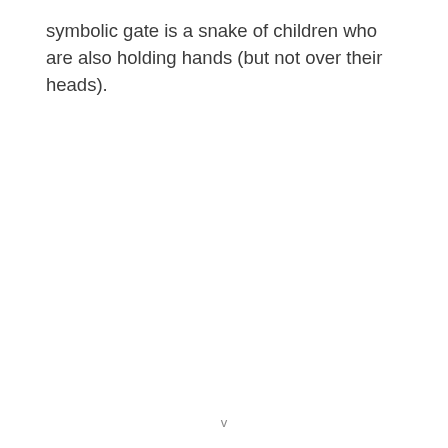symbolic gate is a snake of children who are also holding hands (but not over their heads).
v